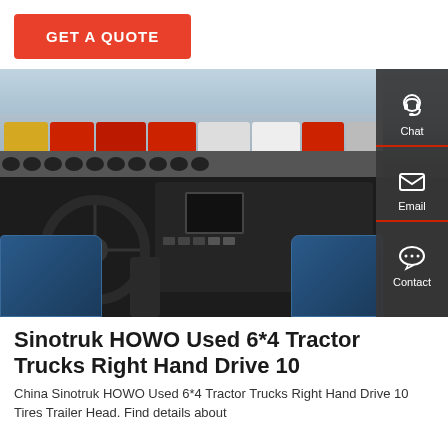GET A QUOTE
[Figure (photo): Interior dashboard view of a Sinotruk HOWO truck cab, showing steering wheel, center console with screen, and through the windshield a yard full of parked red and white tractor trucks. A sidebar overlay shows Chat, Email, and Contact icons.]
Sinotruk HOWO Used 6*4 Tractor Trucks Right Hand Drive 10
China Sinotruk HOWO Used 6*4 Tractor Trucks Right Hand Drive 10 Tires Trailer Head. Find details about